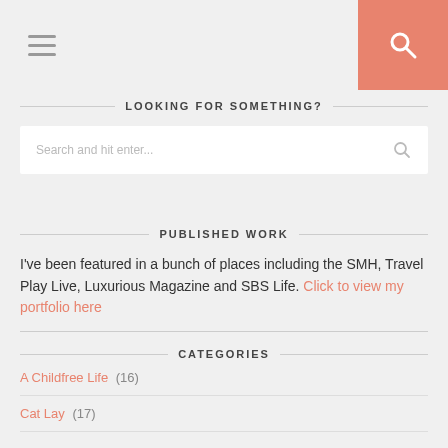[Figure (other): Hamburger menu icon (three horizontal lines) and salmon/pink search button with magnifying glass icon in top navigation bar]
LOOKING FOR SOMETHING?
Search and hit enter...
PUBLISHED WORK
I've been featured in a bunch of places including the SMH, Travel Play Live, Luxurious Magazine and SBS Life. Click to view my portfolio here
CATEGORIES
A Childfree Life (16)
Cat Lay (17)